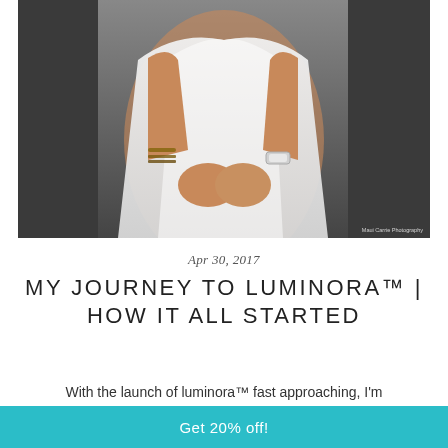[Figure (photo): Close-up photo of a woman in a white dress with bracelets, hands clasped in front, dark background. Photo credit: Maui Carrie Photography]
Apr 30, 2017
MY JOURNEY TO LUMINORA™ | HOW IT ALL STARTED
With the launch of luminora™ fast approaching, I'm
Get 20% off!